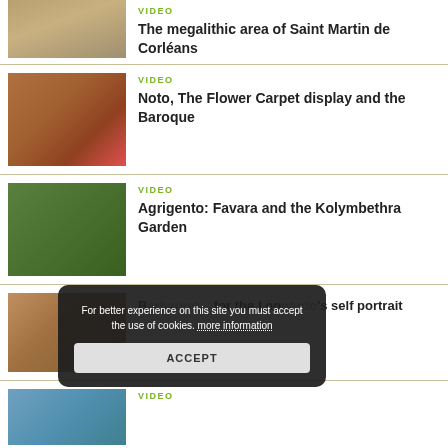[Figure (photo): Aerial photo of sandy/coastal landscape]
VIDEO
The megalithic area of Saint Martin de Corléans
[Figure (photo): Aerial photo of Noto historic stone buildings with pink/red flower carpets]
VIDEO
Noto, The Flower Carpet display and the Baroque
[Figure (photo): Aerial photo of Agrigento area with green landscape and trees]
VIDEO
Agrigento: Favara and the Kolymbethra Garden
[Figure (photo): Aerial photo of historic village with red-tiled rooftops]
Barbarigo... for the Leonardo's self portrait
[Figure (photo): Coastal/water landscape photo (partial)]
VIDEO